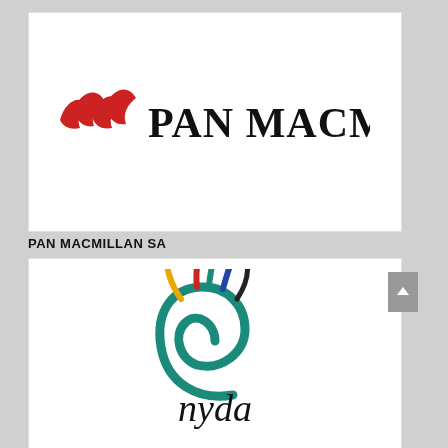[Figure (logo): Pan Macmillan logo: two red wave/chevron shapes followed by the text PAN MACMILLAN in large black serif capitals]
PAN MACMILLAN SA
[Figure (logo): Nyda logo: a stylized green spiral hand with colorful finger streaks (red, teal, blue, yellow) above the word 'nyda' in dark lowercase serif text]